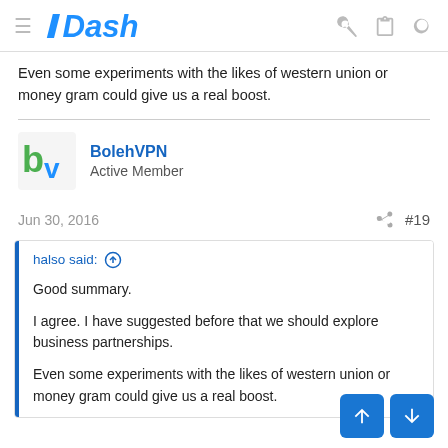Dash
Even some experiments with the likes of western union or money gram could give us a real boost.
BolehVPN
Active Member
Jun 30, 2016  #19
halso said:
Good summary.

I agree. I have suggested before that we should explore business partnerships.

Even some experiments with the likes of western union or money gram could give us a real boost.